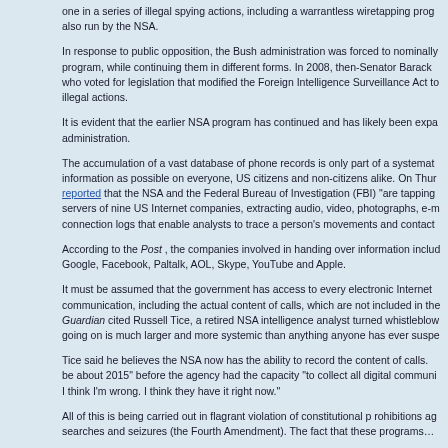one in a series of illegal spying actions, including a warrantless wiretapping program also run by the NSA.
In response to public opposition, the Bush administration was forced to nominally end the program, while continuing them in different forms. In 2008, then-Senator Barack Obama, who voted for legislation that modified the Foreign Intelligence Surveillance Act to legalize illegal actions.
It is evident that the earlier NSA program has continued and has likely been expanded under the Obama administration.
The accumulation of a vast database of phone records is only part of a systematic effort to collect as much information as possible on everyone, US citizens and non-citizens alike. On Thursday, the Washington Post reported that the NSA and the Federal Bureau of Investigation (FBI) "are tapping directly into the central servers of nine US Internet companies, extracting audio, video, photographs, e-mails, documents, and connection logs that enable analysts to trace a person's movements and contacts over time."
According to the Post, the companies involved in handing over information include Microsoft, Yahoo, Google, Facebook, Paltalk, AOL, Skype, YouTube and Apple.
It must be assumed that the government has access to every electronic Internet and telephone communication, including the actual content of calls, which are not included in the metadata. The Guardian cited Russell Tice, a retired NSA intelligence analyst turned whistleblower, who stated "what is going on is much larger and more systemic than anything anyone has ever suspected or imagined."
Tice said he believes the NSA now has the ability to record the content of calls. He said it "used to be about 2015" before the agency had the capacity "to collect all digital communications," but "now I think I'm wrong. I think they have it right now."
All of this is being carried out in flagrant violation of constitutional prohibitions against unreasonable searches and seizures (the Fourth Amendment). The fact that these programs...